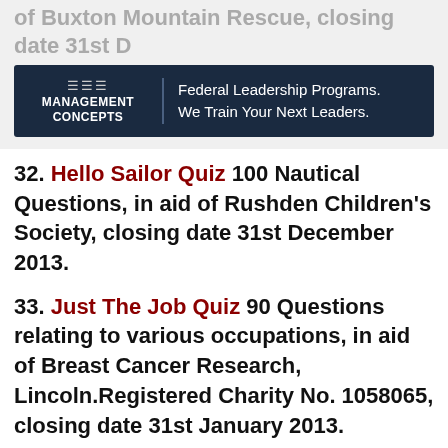of Buxton Mountain Rescue, closing date 31st D
[Figure (logo): Management Concepts advertisement banner with logo and tagline: Federal Leadership Programs. We Train Your Next Leaders.]
32. Hello Sailor Quiz 100 Nautical Questions, in aid of Rushden Children's Society, closing date 31st December 2013.
33. Just The Job Quiz 90 Questions relating to various occupations, in aid of Breast Cancer Research, Lincoln.Registered Charity No. 1058065, closing date 31st January 2013.
34. Movie Quiz in aid of Macmillan